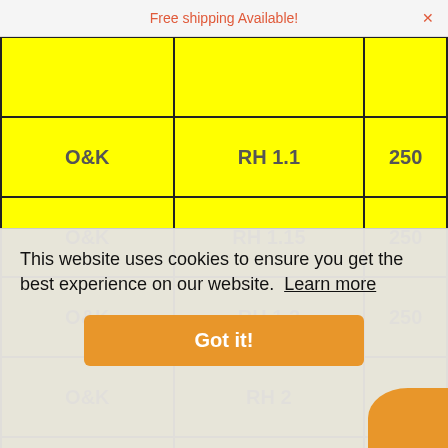Free shipping Available!
|  |  |  |
| --- | --- | --- |
| O&K | RH 1.1 | 250 |
| O&K | RH 1.15 | 250 |
| O&K | RH 1.2 | 250 |
| O&K | RH 2 | 250 |
| O&K | RH 2.1 | 250 |
| O&K | RH 1.1 | 250 |
| O&K | RH 1.15 | 250 |
| PAZZAGLIA | PZ 150 | 250 |
| PAZZAGLIA | PZ 160 | 250 |
This website uses cookies to ensure you get the best experience on our website. Learn more
Got it!